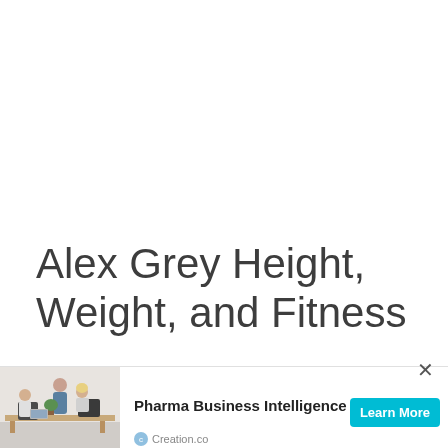Alex Grey Height, Weight, and Fitness
[Figure (photo): Advertisement banner showing office workers seated at a desk in a modern office environment]
Pharma Business Intelligence
Learn More